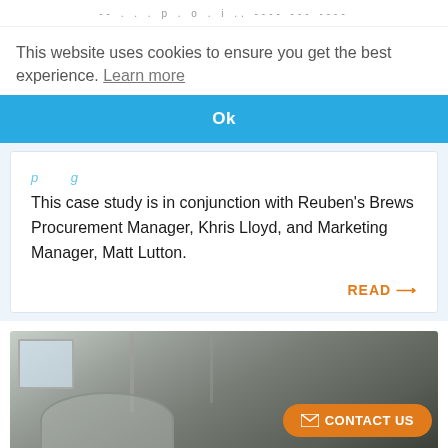-- . . . p . o . i .. ---- --- ----
This website uses cookies to ensure you get the best experience. Learn more
Ok
This case study is in conjunction with Reuben's Brews Procurement Manager, Khris Lloyd, and Marketing Manager, Matt Lutton.
READ →
[Figure (photo): Industrial brewery interior showing a large metal fermentation tank with pipes, a window letting in light, and industrial ceiling structure.]